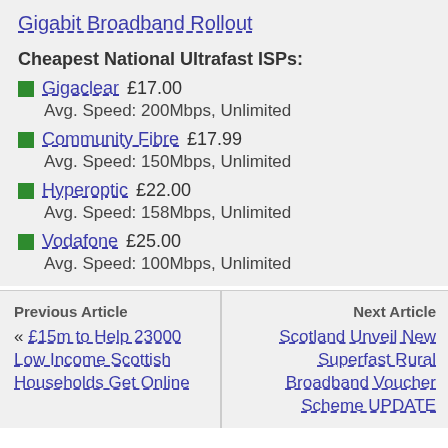Gigabit Broadband Rollout
Cheapest National Ultrafast ISPs:
Gigaclear £17.00
Avg. Speed: 200Mbps, Unlimited
Community Fibre £17.99
Avg. Speed: 150Mbps, Unlimited
Hyperoptic £22.00
Avg. Speed: 158Mbps, Unlimited
Vodafone £25.00
Avg. Speed: 100Mbps, Unlimited
Previous Article
« £15m to Help 23000 Low Income Scottish Households Get Online
Next Article
Scotland Unveil New Superfast Rural Broadband Voucher Scheme UPDATE